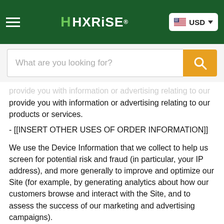HHXRISE — USD currency selector, hamburger menu, search bar
provide you with information or advertising relating to our products or services.
- [[INSERT OTHER USES OF ORDER INFORMATION]]
We use the Device Information that we collect to help us screen for potential risk and fraud (in particular, your IP address), and more generally to improve and optimize our Site (for example, by generating analytics about how our customers browse and interact with the Site, and to assess the success of our marketing and advertising campaigns).
[[INSERT OTHER USES OF DEVICE INFORMATION, INCLUDING: ADVERTISING/RETARGETING]]